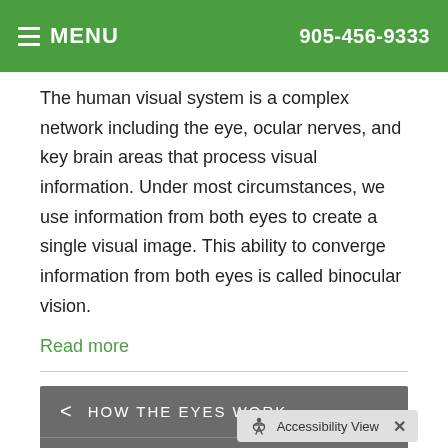MENU | 905-456-9333
The human visual system is a complex network including the eye, ocular nerves, and key brain areas that process visual information. Under most circumstances, we use information from both eyes to create a single visual image. This ability to converge information from both eyes is called binocular vision.
Read more
HOW THE EYES WORK
BASIC VISUAL SKILLS